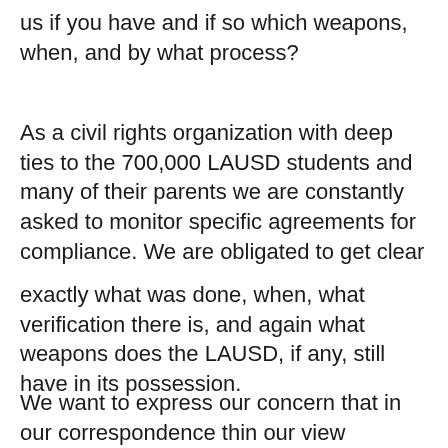us if you have and if so which weapons, when, and by what process?
As a civil rights organization with deep ties to the 700,000 LAUSD students and many of their parents we are constantly asked to monitor specific agreements for compliance. We are obligated to get clear
exactly what was done, when, what verification there is, and again what weapons does the LAUSD, if any, still have in its possession.
We want to express our concern that in our correspondence thin our view